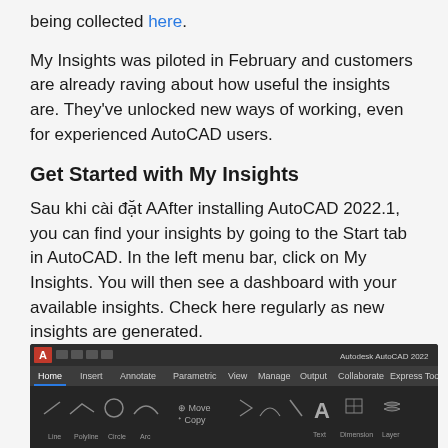being collected here.
My Insights was piloted in February and customers are already raving about how useful the insights are. They've unlocked new ways of working, even for experienced AutoCAD users.
Get Started with My Insights
Sau khi cài đặt AAfter installing AutoCAD 2022.1, you can find your insights by going to the Start tab in AutoCAD. In the left menu bar, click on My Insights. You will then see a dashboard with your available insights. Check here regularly as new insights are generated.
[Figure (screenshot): Screenshot of Autodesk AutoCAD 2022 interface showing the ribbon toolbar with Home, Insert, Annotate, Parametric, View, Manage, Output, Collaborate, Express Tools tabs and drawing tools.]